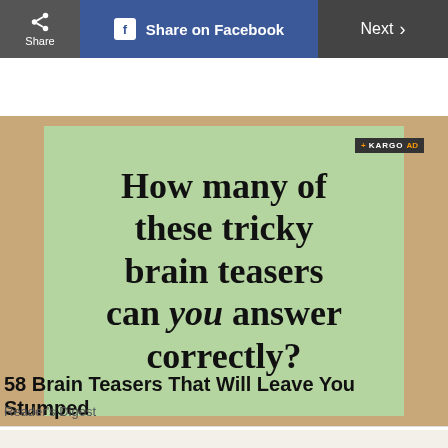Share  |  Share on Facebook  |  Next >
[Figure (screenshot): Advertisement image with light green background on a wood-textured surface, showing bold serif text: 'How many of these tricky brain teasers can you answer correctly?' with a KARGO AD badge in the top right corner.]
58 Brain Teasers That Will Leave You Stumped
Reader's Digest